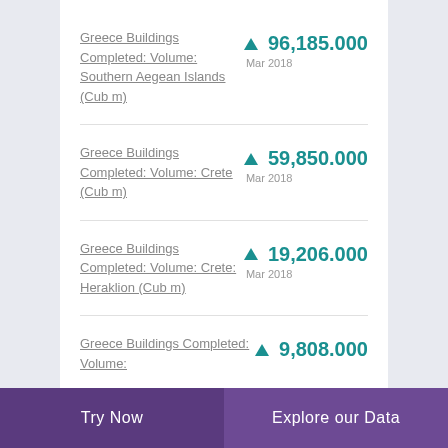Greece Buildings Completed: Volume: Southern Aegean Islands (Cub m)
Greece Buildings Completed: Volume: Crete (Cub m)
Greece Buildings Completed: Volume: Crete: Heraklion (Cub m)
Greece Buildings Completed: Volume:
Try Now | Explore our Data